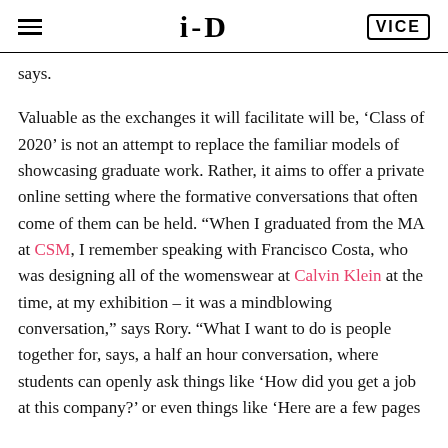i-D / VICE
says.
Valuable as the exchanges it will facilitate will be, ‘Class of 2020’ is not an attempt to replace the familiar models of showcasing graduate work. Rather, it aims to offer a private online setting where the formative conversations that often come of them can be held. “When I graduated from the MA at CSM, I remember speaking with Francisco Costa, who was designing all of the womenswear at Calvin Klein at the time, at my exhibition – it was a mindblowing conversation,” says Rory. “What I want to do is people together for, says, a half an hour conversation, where students can openly ask things like ‘How did you get a job at this company?’ or even things like ‘Here are a few pages